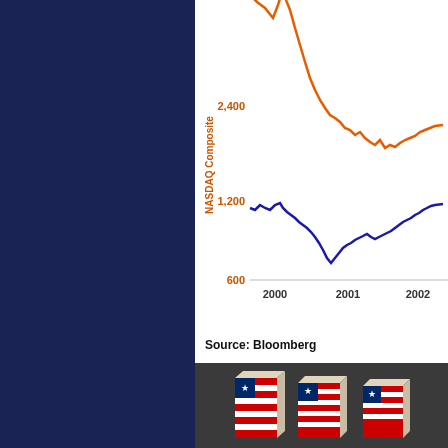[Figure (continuous-plot): Line chart showing NASDAQ Composite index from 2000 to 2002+. Two lines visible: an orange line starting very high (above 2400, peaked off-chart) declining steeply then leveling around 1600-1800, and a blue line ranging from around 1200 down to below 800 then recovering to around 1200. Y-axis labels: 600, 1,200, 2,400. X-axis labels: 2000, 2001, 2002.]
Source: Bloomberg
[Figure (photo): Photo of three 3D box-shaped objects decorated with American flag (red, white, blue stripes) patterns, standing on a dark surface.]